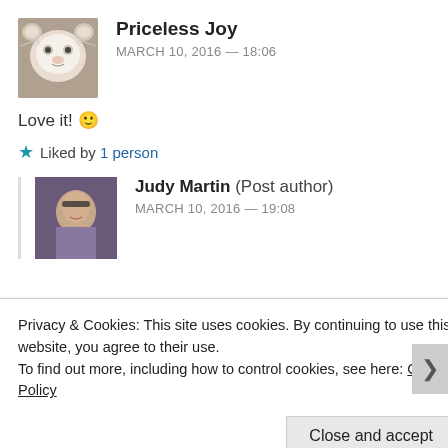[Figure (photo): Avatar of Priceless Joy — white cat photo]
Priceless Joy
MARCH 10, 2016 — 18:06
Love it! 🙂
★ Liked by 1 person
[Figure (photo): Avatar of Judy Martin — person wearing sunglasses]
Judy Martin (Post author)
MARCH 10, 2016 — 19:08
Privacy & Cookies: This site uses cookies. By continuing to use this website, you agree to their use. To find out more, including how to control cookies, see here: Cookie Policy
Close and accept
Advertisements
[Figure (logo): Jetpack advertisement banner — Back up your site]